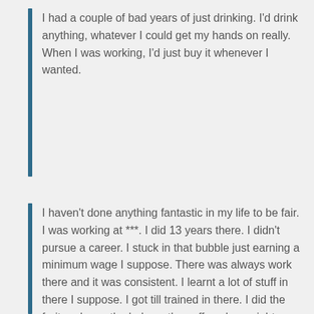I had a couple of bad years of just drinking. I'd drink anything, whatever I could get my hands on really. When I was working, I'd just buy it whenever I wanted.
I haven't done anything fantastic in my life to be fair. I was working at ***. I did 13 years there. I didn't pursue a career. I stuck in that bubble just earning a minimum wage I suppose. There was always work there and it was consistent. I learnt a lot of stuff in there I suppose. I got till trained in there. I did the fruit and veg, the bakery, the coffee shop, night work. I got a bit of everything there. Obviously, that's been a while though. That was